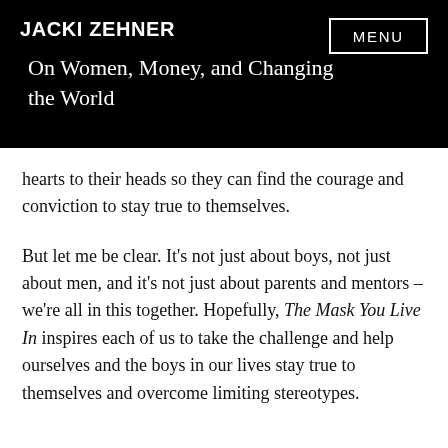JACKI ZEHNER
On Women, Money, and Changing the World
hearts to their heads so they can find the courage and conviction to stay true to themselves.
But let me be clear. It’s not just about boys, not just about men, and it’s not just about parents and mentors – we’re all in this together. Hopefully, The Mask You Live In inspires each of us to take the challenge and help ourselves and the boys in our lives stay true to themselves and overcome limiting stereotypes.